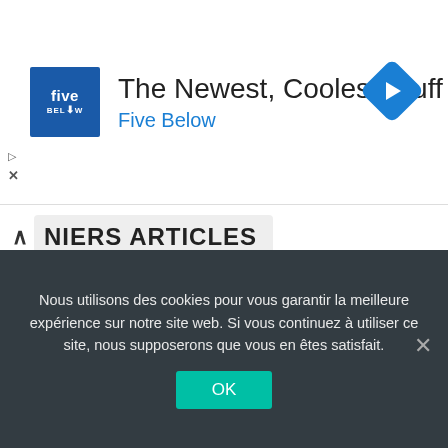[Figure (other): Five Below advertisement banner with logo, headline 'The Newest, Coolest Stuff', subtext 'Five Below', and a blue navigation arrow icon on the right.]
NIERS ARTICLES
[Figure (infographic): Tab bar with three icons: newspaper icon (active, blue background), tag icon, and speech bubble icon.]
Algérie: Extraction de 1000 tonnes de fer de Gara Djebilet
Maroc: Bilan de la 24e session du CDH – Doc.
Nous utilisons des cookies pour vous garantir la meilleure expérience sur notre site web. Si vous continuez à utiliser ce site, nous supposerons que vous en êtes satisfait.